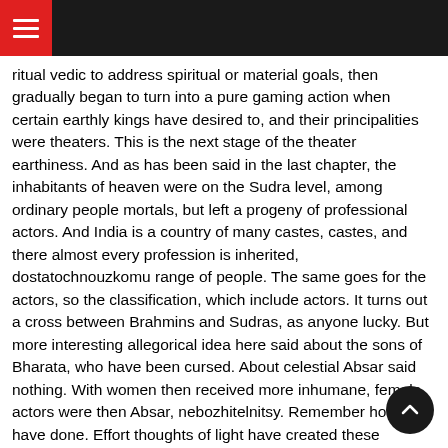ritual vedic to address spiritual or material goals, then gradually began to turn into a pure gaming action when certain earthly kings have desired to, and their principalities were theaters. This is the next stage of the theater earthiness. And as has been said in the last chapter, the inhabitants of heaven were on the Sudra level, among ordinary people mortals, but left a progeny of professional actors. And India is a country of many castes, castes, and there almost every profession is inherited, dostatochnouzkomu range of people. The same goes for the actors, so the classification, which include actors. It turns out a cross between Brahmins and Sudras, as anyone lucky. But more interesting allegorical idea here said about the sons of Bharata, who have been cursed. About celestial Absar said nothing. With women then received more inhumane, female actors were then Absar, nebozhitelnitsy. Remember how they have done. Effort thoughts of light have created these beautiful dancers, these beautiful actresses.
It is interesting to trace the other line, the numerous temple dancer, the numerous temple priestess. Which socio very strange position occupied in more than late medieval India. It must be said that the attitude towards women in the orthodox community in Indian society quite ferocious. Women there are